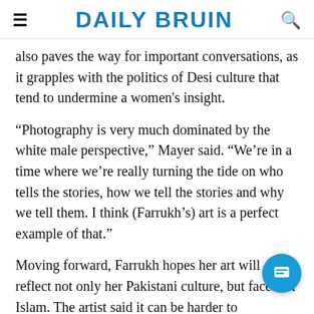DAILY BRUIN
also paves the way for important conversations, as it grapples with the politics of Desi culture that tend to undermine a women's insight.
“Photography is very much dominated by the white male perspective,” Mayer said. “We’re in a time where we’re really turning the tide on who tells the stories, how we tell the stories and why we tell them. I think (Farrukh’s) art is a perfect example of that.”
Moving forward, Farrukh hopes her art will reflect not only her Pakistani culture, but facets of Islam. The artist said it can be harder to incorporate religion into her photos, as spirituality is fluid and not easily captured. Nonetheless, she wants her work to shed light on Muslim culture, as she said it’s still not